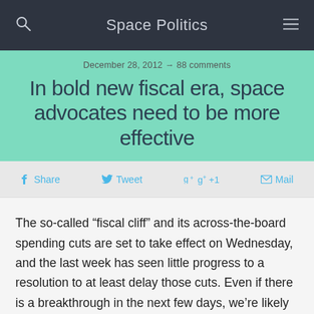Space Politics
December 28, 2012 → 88 comments
In bold new fiscal era, space advocates need to be more effective
f Share   Tweet   g+ +1   Mail
The so-called “fiscal cliff” and its across-the-board spending cuts are set to take effect on Wednesday, and the last week has seen little progress to a resolution to at least delay those cuts. Even if there is a breakthrough in the next few days, we’re likely heading into an era of constrained budgets. Is the space community, in particular grassroots space advocates, prepared to effectively lobby for their interests? Recent efforts